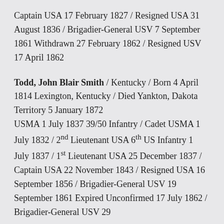Captain USA 17 February 1827 / Resigned USA 31 August 1836 / Brigadier-General USV 7 September 1861 Withdrawn 27 February 1862 / Resigned USV 17 April 1862
Todd, John Blair Smith / Kentucky / Born 4 April 1814 Lexington, Kentucky / Died Yankton, Dakota Territory 5 January 1872
USMA 1 July 1837 39/50 Infantry / Cadet USMA 1 July 1832 / 2nd Lieutenant USA 6th US Infantry 1 July 1837 / 1st Lieutenant USA 25 December 1837 / Captain USA 22 November 1843 / Resigned USA 16 September 1856 / Brigadier-General USV 19 September 1861 Expired Unconfirmed 17 July 1862 / Brigadier-General USV 29